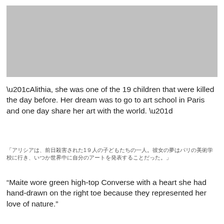[Figure (photo): Gray placeholder image at top of page]
“Alithia, she was one of the 19 children that were killed the day before. Her dream was to go to art school in Paris and one day share her art with the world. ”
「アリシアは、前日殺害された19人の子どもたちの一人。彼女の夢はパリの美術学校に行き、いつか世界中に自分のアートを発表することだった。」
“Maite wore green high-top Converse with a heart she had hand-drawn on the right toe because they represented her love of nature.”